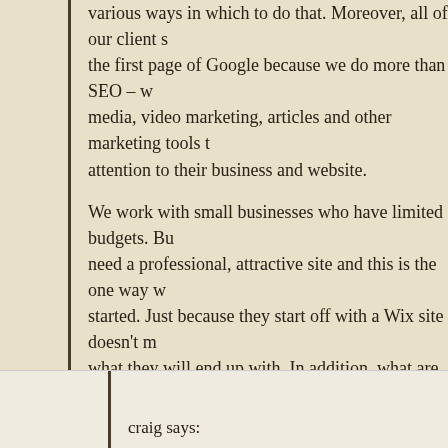various ways in which to do that. Moreover, all of our client s... the first page of Google because we do more than SEO – w... media, video marketing, articles and other marketing tools t... attention to their business and website.
We work with small businesses who have limited budgets. Bu... need a professional, attractive site and this is the one way w... started. Just because they start off with a Wix site doesn't m... what they will end up with. In addition, what are clients are re... for is our TIME which is something I don't think anyone can p... price tag on. If you're a business owner, you don't have time ... site, template or otherwise (which we have designers who ca... too) so you hire someone else to do it and maintain it.
So, what is your time worth, Craig? How much would you char... FREE Word Press site for a client? $0? $10? $100? You won... business long if you don't charge something.
Log in to Reply
craig says: